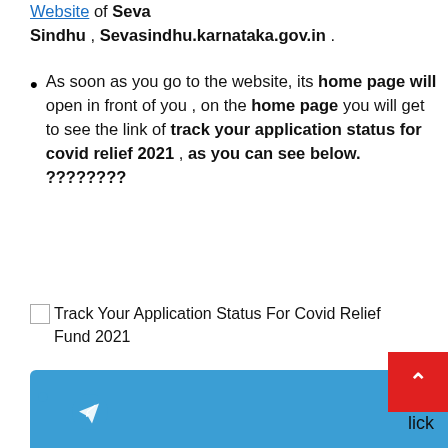Website of Seva Sindhu , Sevasindhu.karnataka.gov.in .
As soon as you go to the website, its home page will open in front of you , on the home page you will get to see the link of track your application status for covid relief 2021 , as you can see below. ????????
[Figure (screenshot): Broken image placeholder with alt text: Track Your Application Status For Covid Relief Fund 2021]
[Figure (screenshot): Bottom portion of webpage showing a blue Telegram share bar with telegram icon, a bullet point, partial text 'lick', and a red scroll-to-top button with an upward arrow]